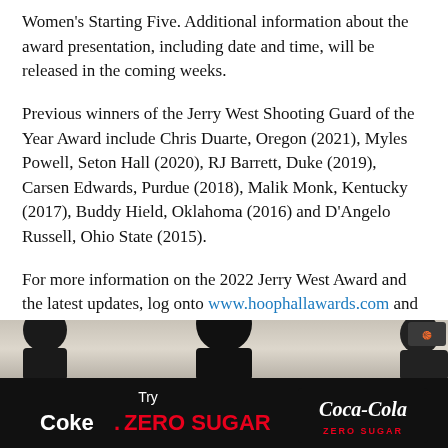Women's Starting Five. Additional information about the award presentation, including date and time, will be released in the coming weeks.
Previous winners of the Jerry West Shooting Guard of the Year Award include Chris Duarte, Oregon (2021), Myles Powell, Seton Hall (2020), RJ Barrett, Duke (2019), Carsen Edwards, Purdue (2018), Malik Monk, Kentucky (2017), Buddy Hield, Oklahoma (2016) and D'Angelo Russell, Ohio State (2015).
For more information on the 2022 Jerry West Award and the latest updates, log onto www.hoophallawards.com and follow @hoophall and #WestAward on Twitter and Instagram.
2022 March Madness
[Figure (photo): Partial photo of basketball players, cropped to show only the top portion of heads/shoulders against a light background]
[Figure (logo): Coca-Cola Zero Sugar advertisement banner on black background with text 'Try Coke. ZERO SUGAR' and Coca-Cola Zero Sugar logo]